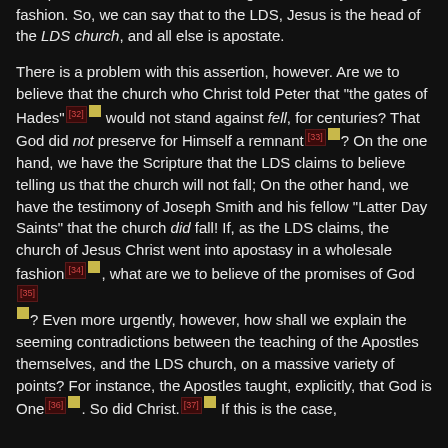earth for centuries. Only with the "Great Restoration"[31] of Joseph Smith was the church brought back in any meaningful fashion. So, we can say that to the LDS, Jesus is the head of the LDS church, and all else is apostate.
There is a problem with this assertion, however. Are we to believe that the church who Christ told Peter that "the gates of Hades"[32] would not stand against fell, for centuries? That God did not preserve for Himself a remnant[33]? On the one hand, we have the Scripture that the LDS claims to believe telling us that the church will not fall; On the other hand, we have the testimony of Joseph Smith and his fellow "Latter Day Saints" that the church did fall! If, as the LDS claims, the church of Jesus Christ went into apostasy in a wholesale fashion[34], what are we to believe of the promises of God[35]? Even more urgently, however, how shall we explain the seeming contradictions between the teaching of the Apostles themselves, and the LDS church, on a massive variety of points? For instance, the Apostles taught, explicitly, that God is One[36]. So did Christ.[37] If this is the case,